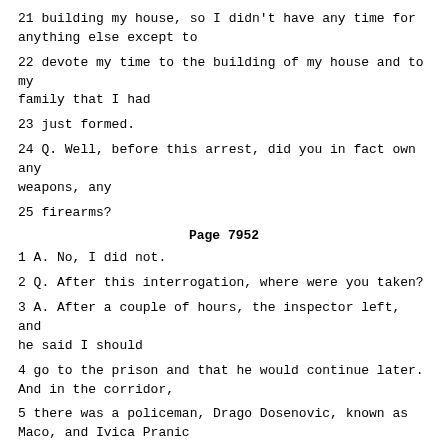21 building my house, so I didn't have any time for anything else except to
22 devote my time to the building of my house and to my family that I had
23 just formed.
24 Q. Well, before this arrest, did you in fact own any weapons, any
25 firearms?
Page 7952
1 A. No, I did not.
2 Q. After this interrogation, where were you taken?
3 A. After a couple of hours, the inspector left, and he said I should
4 go to the prison and that he would continue later. And in the corridor,
5 there was a policeman, Drago Dosenovic, known as Maco, and Ivica Pranic
6 was also waiting in the corridor, a Croat, and he took both of us.
7 Q. Where did they take you?